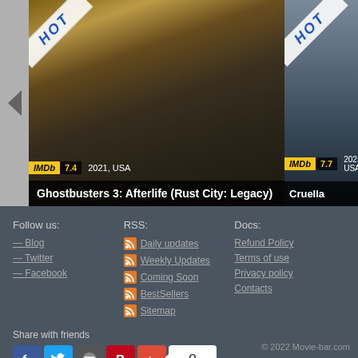[Figure (screenshot): Movie carousel showing two movie cards. First card: Ghostbusters 3: Afterlife (Rust City: Legacy) with HOT ribbon, IMDb 7.4, 2021 USA. Second partial card: Cruella with HOT ribbon, IMDb 7.7, 2021 USA.]
Follow us:
— Blog
— Twitter
— Facebook
RSS:
Daily updates
Weekly Updates
Coming Soon
BestSellers
Sitemap
Docs:
Refund Policy
Terms of use
Privacy policy
Contacts
Share with friends
© 2022 Movie-bar.com